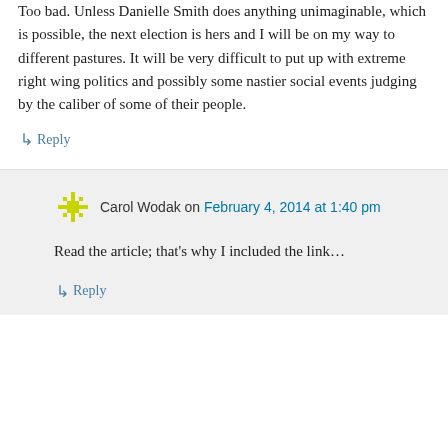Too bad. Unless Danielle Smith does anything unimaginable, which is possible, the next election is hers and I will be on my way to different pastures. It will be very difficult to put up with extreme right wing politics and possibly some nastier social events judging by the caliber of some of their people.
↳ Reply
Carol Wodak on February 4, 2014 at 1:40 pm
Read the article; that's why I included the link…
↳ Reply